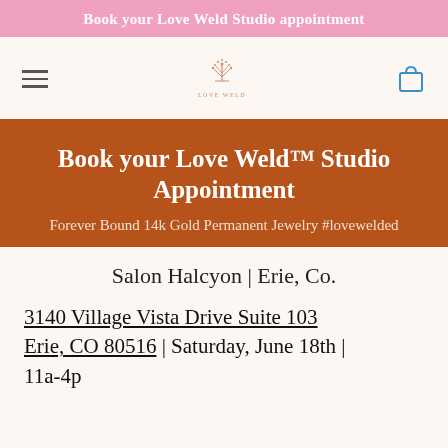Book your Love Weld Studio appointment
[Figure (logo): Love Weld logo with tree/floral motif and text LOVE WELD]
Book your Love Weld™ Studio Appointment
Forever Bound 14k Gold Permanent Jewelry #lovewelded
Salon Halcyon | Erie, Co.
3140 Village Vista Drive Suite 103 Erie, CO 80516 | Saturday, June 18th | 11a-4p